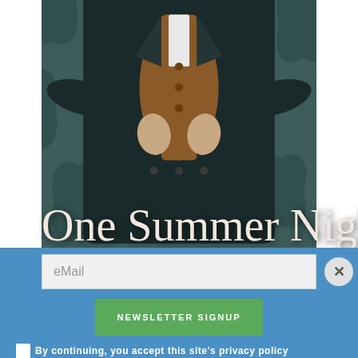[Figure (illustration): Book cover image showing a man in a period dark coat and bronze/gold vest holding his jacket open, against a dark teal damask wallpaper background, with the title 'One Summer Night' in large serif white/cream text at the bottom.]
eMail
NEWSLETTER SIGNUP
By continuing, you accept this site's privacy policy